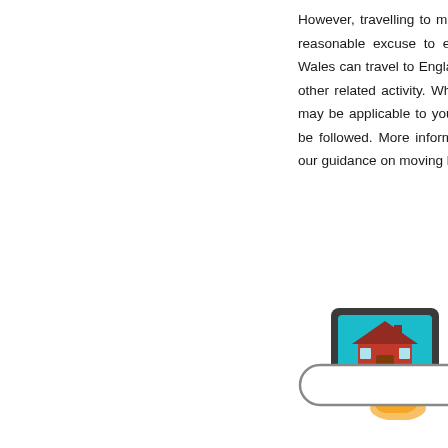However, travelling to move home, or other related activity, is a reasonable excuse to enter Wales. Similarly, people living in Wales can travel to England for the purposes of moving home or other related activity. Where this is the case, the restrictions as may be applicable to you elsewhere in the UK will also need to be followed. More information will shortly be made available in our guidance on moving home during the coronavirus
[Figure (infographic): A rounded rectangle banner button reading 'Book A Property Valuation' in bold, with a tablet/house icon graphic to the right showing a house on a teal screen with a hand pointing]